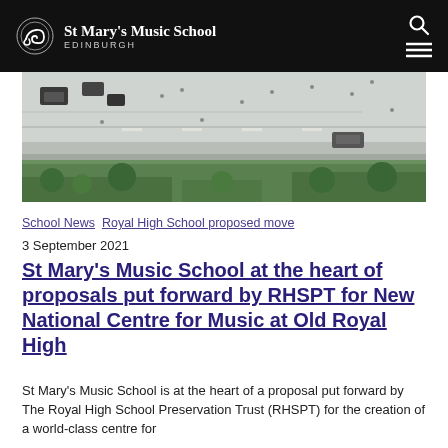St Mary's Music School EDINBURGH
[Figure (photo): Aerial view of a plaza/courtyard area with cars, pedestrians, and trees, rendered architectural visualization]
School News Royal High School proposed move
3 September 2021
St Mary's Music School at the heart of proposals put forward by RHSPT for New National Centre for Music at Old Royal High
St Mary's Music School is at the heart of a proposal put forward by The Royal High School Preservation Trust (RHSPT) for the creation of a world-class centre for